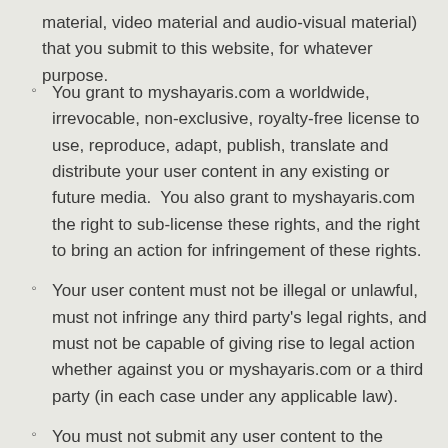material, video material and audio-visual material) that you submit to this website, for whatever purpose.
You grant to myshayaris.com a worldwide, irrevocable, non-exclusive, royalty-free license to use, reproduce, adapt, publish, translate and distribute your user content in any existing or future media.  You also grant to myshayaris.com the right to sub-license these rights, and the right to bring an action for infringement of these rights.
Your user content must not be illegal or unlawful, must not infringe any third party's legal rights, and must not be capable of giving rise to legal action whether against you or myshayaris.com or a third party (in each case under any applicable law).
You must not submit any user content to the website that is or has ever been the subject of any threatened